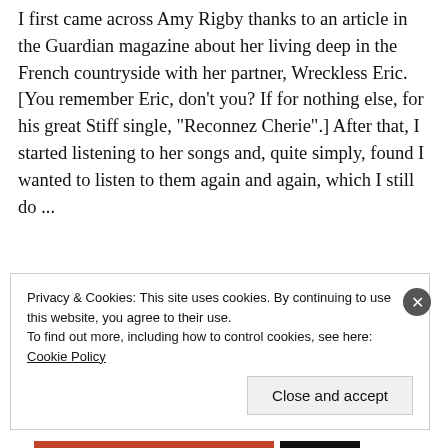I first came across Amy Rigby thanks to an article in the Guardian magazine about her living deep in the French countryside with her partner, Wreckless Eric. [You remember Eric, don't you? If for nothing else, for his great Stiff single, "Reconnez Cherie".] After that, I started listening to her songs and, quite simply, found I wanted to listen to them again and again, which I still do ...
Privacy & Cookies: This site uses cookies. By continuing to use this website, you agree to their use.
To find out more, including how to control cookies, see here: Cookie Policy